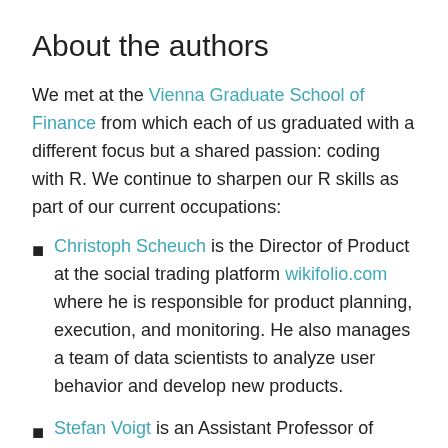About the authors
We met at the Vienna Graduate School of Finance from which each of us graduated with a different focus but a shared passion: coding with R. We continue to sharpen our R skills as part of our current occupations:
Christoph Scheuch is the Director of Product at the social trading platform wikifolio.com where he is responsible for product planning, execution, and monitoring. He also manages a team of data scientists to analyze user behavior and develop new products.
Stefan Voigt is an Assistant Professor of Finance at the Department of Economics at the University in Copenhagen and a research fellow at the Danish Finance Institute. His research focuses on blockchain technology, high-frequency trading, and financial econometrics. Stefan teaches parts of this book in his